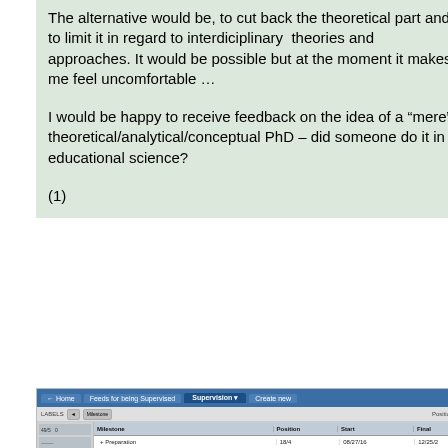The alternative would be, to cut back the theoretical part and to limit it in regard to interdiciplinary  theories and approaches. It would be possible but at the moment it makes me feel uncomfortable …

I would be happy to receive feedback on the idea of a "mere" theoretical/analytical/conceptual PhD – did someone do it in educational science?
(1)
[Figure (screenshot): Screenshot of a web-based course or learning management system interface showing a file/module listing with columns for position, title, number of files, start date, and end date. Multiple rows of course modules and submodules are visible including items like Preparation, Reading, Epistemology/Grammatics, Lectures, Filme, Dissertation/Individual Supervision, Mixed Methods, Panelbasis and andere Online-Sammlungen, and Laufblog für Supervisors.]